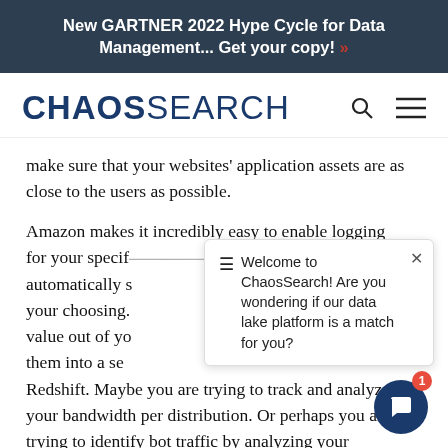New GARTNER 2022 Hype Cycle for Data Management... Get your copy! »
[Figure (logo): ChaosSearch logo with navigation icons (search and hamburger menu)]
make sure that your websites' application assets are as close to the users as possible.
Amazon makes it incredibly easy to enable logging for your specif automatically s your choosing. value out of yo them into a se Redshift. Maybe you are trying to track and analyze your bandwidth per distribution. Or perhaps you are trying to identify bot traffic by analyzing your user agent strings per endpoint.
Welcome to ChaosSearch! Are you wondering if our data lake platform is a match for you?